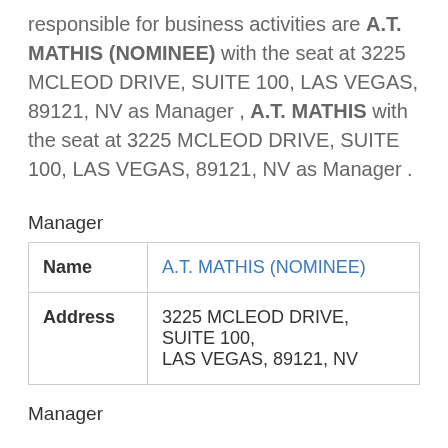responsible for business activities are A.T. MATHIS (NOMINEE) with the seat at 3225 MCLEOD DRIVE, SUITE 100, LAS VEGAS, 89121, NV as Manager , A.T. MATHIS with the seat at 3225 MCLEOD DRIVE, SUITE 100, LAS VEGAS, 89121, NV as Manager .
Manager
| Name | Address |
| --- | --- |
| Name | A.T. MATHIS (NOMINEE) |
| Address | 3225 MCLEOD DRIVE, SUITE 100, LAS VEGAS, 89121, NV |
Manager